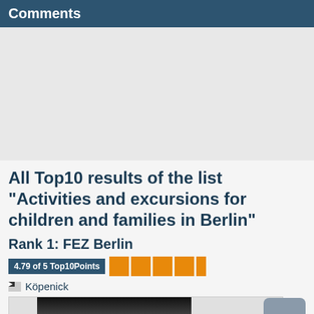Comments
[Figure (other): Advertisement placeholder area (gray box)]
All Top10 results of the list "Activities and excursions for children and families in Berlin"
Rank 1: FEZ Berlin
4.79 of 5 Top10Points
Köpenick
[Figure (photo): Partial photo of FEZ Berlin, dark image mostly black and gray]